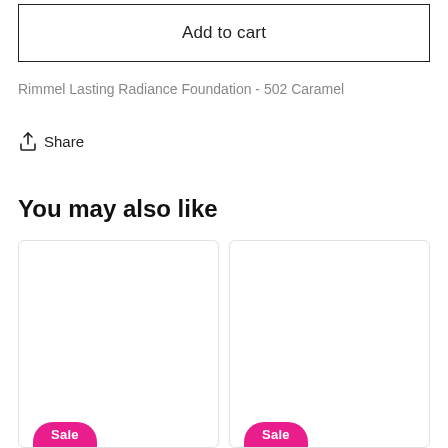Add to cart
Rimmel Lasting Radiance Foundation - 502 Caramel
Share
You may also like
[Figure (screenshot): Two product cards side by side, each with a white background and a pink 'Sale' badge at the bottom]
Sale
Sale